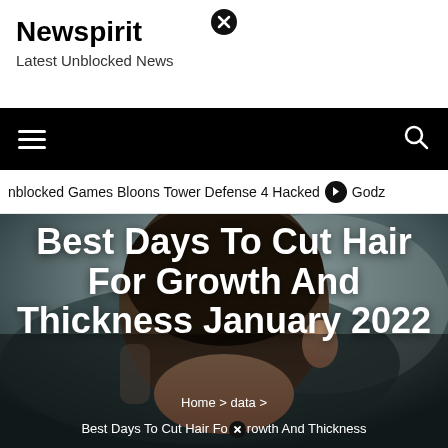Newspirit
Latest Unblocked News
[Figure (screenshot): Navigation bar with hamburger menu on left and search icon on right, black background]
nblocked Games Bloons Tower Defense 4 Hacked  ⊙  Godz
[Figure (photo): Close-up of a young man with dark hair shown from the back/side, hair fade haircut visible]
Best Days To Cut Hair For Growth And Thickness January 2022
Home > data > Best Days To Cut Hair For⊗rowth And Thickness